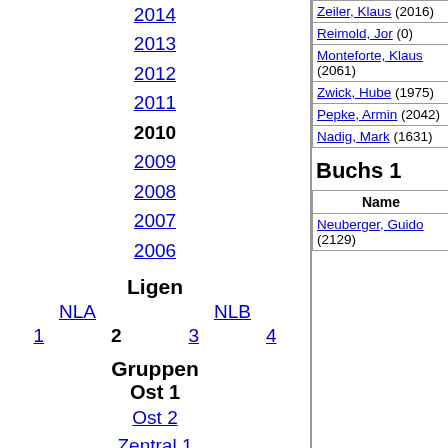2014
2013
2012
2011
2010
2009
2008
2007
2006
Ligen
NLA   NLB
1   2   3   4
Gruppen
Ost 1
Ost 2
Zentral 1
Zentral 2
Nordwest 1
Nordwest 2
Zeiler, Klaus (2016)
Reimold, Jor (0)
Monteforte, Klaus (2061)
Zwick, Hube (1975)
Pepke, Armin (2042)
Nadig, Mark (1631)
Buchs 1
| Name |
| --- |
| Neuberger, Guido (2129) |